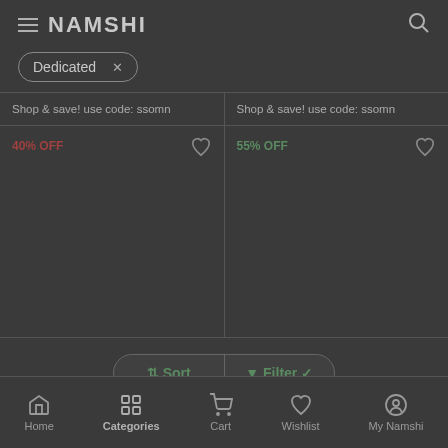NAMSHI
Dedicated ×
Shop & save! use code: ssomn
Shop & save! use code: ssomn
40% OFF
55% OFF
⇅ Sort   ▼ Filter ✓
Home   Categories   Cart   Wishlist   My Namshi